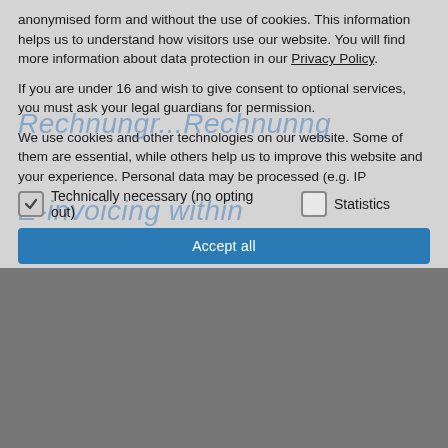anonymised form and without the use of cookies. This information helps us to understand how visitors use our website. You will find more information about data protection in our Privacy Policy.
If you are under 16 and wish to give consent to optional services, you must ask your legal guardians for permission.
We use cookies and other technologies on our website. Some of them are essential, while others help us to improve this website and your experience. Personal data may be processed (e.g. IP
Technically necessary (no opting out)    Statistics
Accept all
E-invoicing within the Federal Administration
Welcome to the Federal Government's